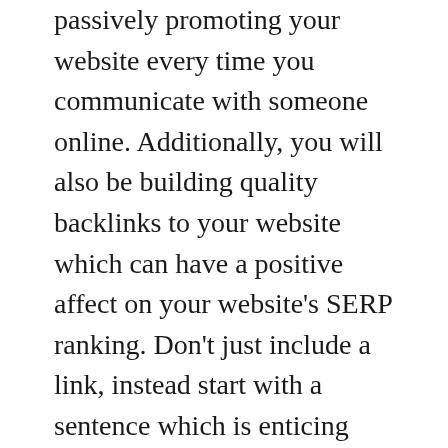passively promoting your website every time you communicate with someone online. Additionally, you will also be building quality backlinks to your website which can have a positive affect on your website's SERP ranking. Don't just include a link, instead start with a sentence which is enticing enough that the reader will want to click through to your website.
Making sure to include captions in your images is a great tip to employ. Search engine algorithms will factor the relevancy of text in the captions in to how relevant your site is to a keyword being searched. When you have relevant captions on your images, your